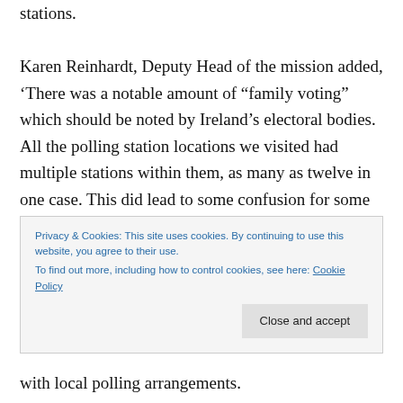stations.
Karen Reinhardt, Deputy Head of the mission added, ‘There was a notable amount of “family voting” which should be noted by Ireland’s electoral bodies. All the polling station locations we visited had multiple stations within them, as many as twelve in one case. This did lead to some confusion for some voters on their arrival at polling
with local polling arrangements.
Privacy & Cookies: This site uses cookies. By continuing to use this website, you agree to their use.
To find out more, including how to control cookies, see here: Cookie Policy